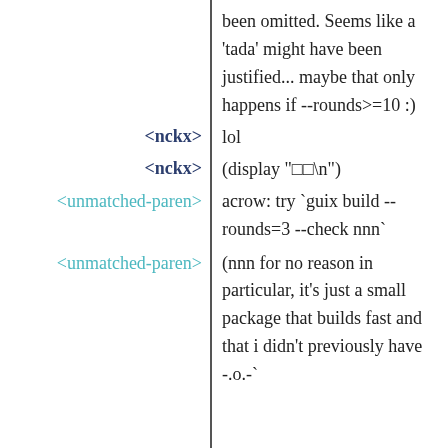been omitted. Seems like a 'tada' might have been justified... maybe that only happens if --rounds>=10 :)
<nckx> lol
<nckx> (display "□□\n")
<unmatched-paren> acrow: try `guix build --rounds=3 --check nnn`
<unmatched-paren> (nnn for no reason in particular, it's just a small package that builds fast and that i didn't previously have -.o.-`